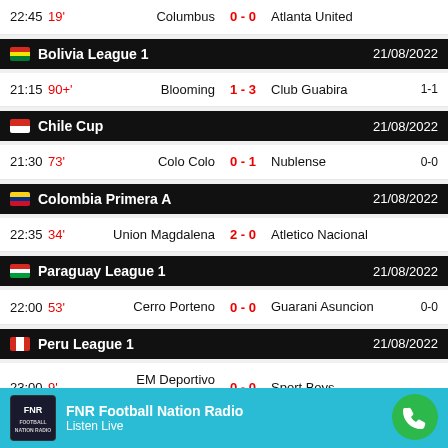| Time | Min | Home | Score | Away | HT |
| --- | --- | --- | --- | --- | --- |
| 22:45 | 19' | Columbus | 0 - 0 | Atlanta United |  |
Bolivia League 1   21/08/2022
| Time | Min | Home | Score | Away | HT |
| --- | --- | --- | --- | --- | --- |
| 21:15 | 90+' | Blooming | 1 - 3 | Club Guabira | 1-1 |
Chile Cup   21/08/2022
| Time | Min | Home | Score | Away | HT |
| --- | --- | --- | --- | --- | --- |
| 21:30 | 73' | Colo Colo | 0 - 1 | Nublense | 0-0 |
Colombia Primera A   21/08/2022
| Time | Min | Home | Score | Away | HT |
| --- | --- | --- | --- | --- | --- |
| 22:35 | 34' | Union Magdalena | 2 - 0 | Atletico Nacional |  |
Paraguay League 1   21/08/2022
| Time | Min | Home | Score | Away | HT |
| --- | --- | --- | --- | --- | --- |
| 22:00 | 53' | Cerro Porteno | 0 - 0 | Guarani Asuncion | 0-0 |
Peru League 1   21/08/2022
| Time | Min | Home | Score | Away | HT |
| --- | --- | --- | --- | --- | --- |
| 23:00 | 9' | EM Deportivo Binacional | 0 - 0 | Sport Boys |  |
Mexico League 1   21/08/2022
FNR Football Nation Radio
Listen Live